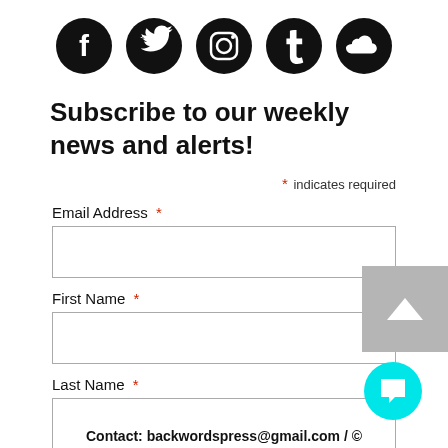[Figure (illustration): Five social media icons (Facebook, Twitter, Instagram, Tumblr, SoundCloud) as black circular buttons in a row]
Subscribe to our weekly news and alerts!
* indicates required
Email Address *
First Name *
Last Name *
Subscribe
Contact: backwordspress@gmail.com / © BACKWORDS B...